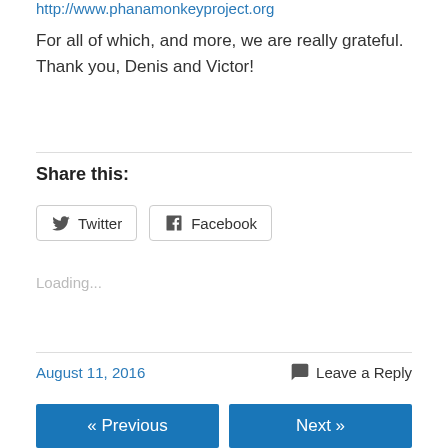http://www.phanamonkeyproject.org
For all of which, and more, we are really grateful. Thank you, Denis and Victor!
Share this:
Twitter  Facebook
Loading...
August 11, 2016   Leave a Reply
« Previous   Next »